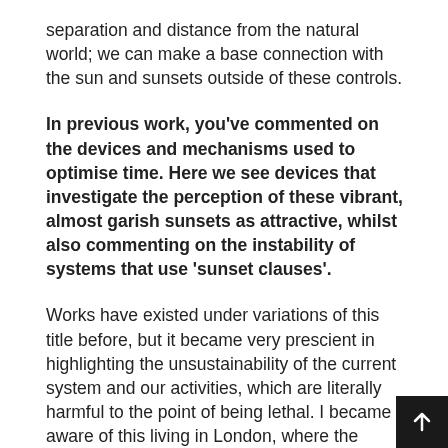separation and distance from the natural world; we can make a base connection with the sun and sunsets outside of these controls.
In previous work, you've commented on the devices and mechanisms used to optimise time. Here we see devices that investigate the perception of these vibrant, almost garish sunsets as attractive, whilst also commenting on the instability of systems that use 'sunset clauses'.
Works have existed under variations of this title before, but it became very prescient in highlighting the unsustainability of the current system and our activities, which are literally harmful to the point of being lethal. I became aware of this living in London, where the authorities consistently hide the fact it's the city with the worst air quality in Europe. The uRad